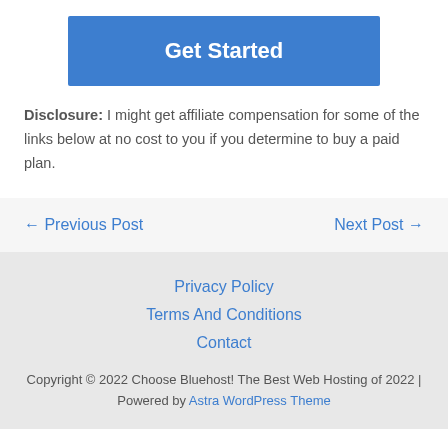[Figure (other): Blue 'Get Started' button]
Disclosure: I might get affiliate compensation for some of the links below at no cost to you if you determine to buy a paid plan.
← Previous Post
Next Post →
Privacy Policy
Terms And Conditions
Contact
Copyright © 2022 Choose Bluehost! The Best Web Hosting of 2022 | Powered by Astra WordPress Theme